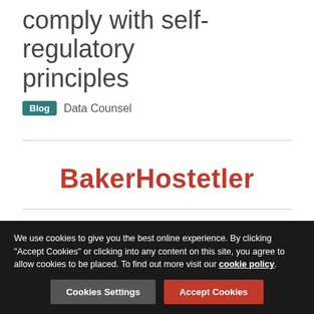comply with self-regulatory principles
Blog   Data Counsel
[Figure (logo): BakerHostetler law firm logo in red text]
[Figure (photo): Black and white circular headshot photo of a person in a suit]
We use cookies to give you the best online experience. By clicking "Accept Cookies" or clicking into any content on this site, you agree to allow cookies to be placed. To find out more visit our cookie policy.
Cookies Settings   Accept Cookies